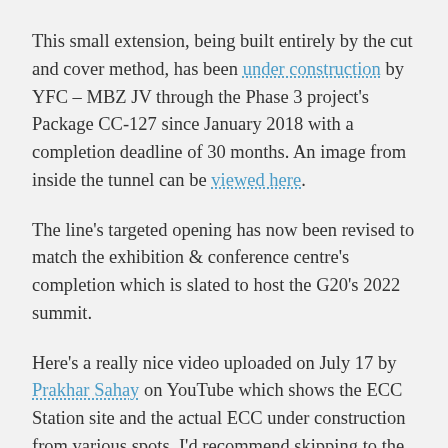This small extension, being built entirely by the cut and cover method, has been under construction by YFC – MBZ JV through the Phase 3 project's Package CC-127 since January 2018 with a completion deadline of 30 months. An image from inside the tunnel can be viewed here.
The line's targeted opening has now been revised to match the exhibition & conference centre's completion which is slated to host the G20's 2022 summit.
Here's a really nice video uploaded on July 17 by Prakhar Sahay on YouTube which shows the ECC Station site and the actual ECC under construction from various spots. I'd recommend skipping to the 4:00 minute mark: